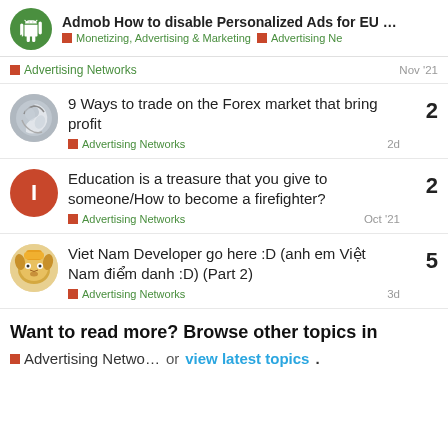Admob How to disable Personalized Ads for EU ... | Monetizing, Advertising & Marketing | Advertising Ne
Advertising Networks    Nov '21
9 Ways to trade on the Forex market that bring profit
Advertising Networks    2d    2
Education is a treasure that you give to someone/How to become a firefighter?
Advertising Networks    Oct '21    2
Viet Nam Developer go here :D (anh em Việt Nam điểm danh :D) (Part 2)
Advertising Networks    3d    5
Want to read more? Browse other topics in
Advertising Netwo... or view latest topics.